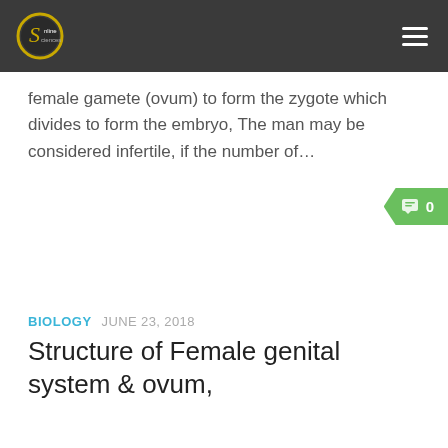Online Sciences
female gamete (ovum) to form the zygote which divides to form the embryo, The man may be considered infertile, if the number of…
0
BIOLOGY  JUNE 23, 2018
Structure of Female genital system & ovum,